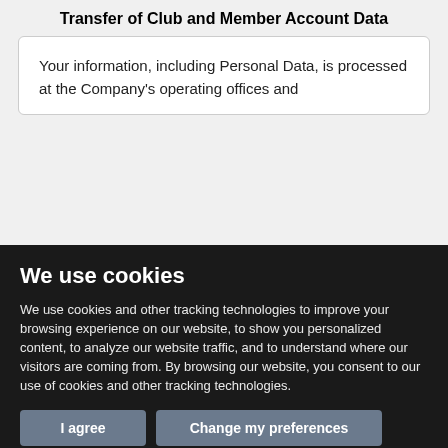Transfer of Club and Member Account Data
Your information, including Personal Data, is processed at the Company's operating offices and
We use cookies
We use cookies and other tracking technologies to improve your browsing experience on our website, to show you personalized content, to analyze our website traffic, and to understand where our visitors are coming from. By browsing our website, you consent to our use of cookies and other tracking technologies.
I agree
Change my preferences